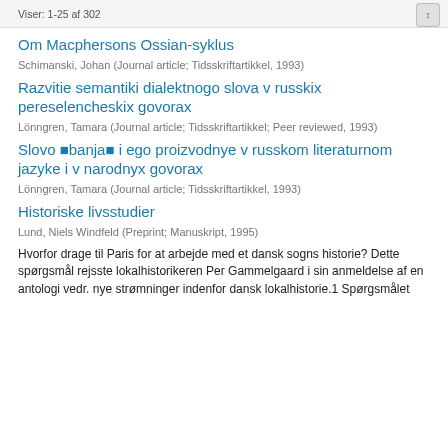Viser: 1-25 af 302
Om Macphersons Ossian-syklus
Schimanski, Johan (Journal article; Tidsskriftartikkel, 1993)
Razvitie semantiki dialektnogo slova v russkix pereselencheskix govorax
Lönngren, Tamara (Journal article; Tidsskriftartikkel; Peer reviewed, 1993)
Slovo banja i ego proizvodnye v russkom literaturnom jazyke i v narodnyx govorax
Lönngren, Tamara (Journal article; Tidsskriftartikkel, 1993)
Historiske livsstudier
Lund, Niels Windfeld (Preprint; Manuskript, 1995)
Hvorfor drage til Paris for at arbejde med et dansk sogns historie? Dette spørgsmål rejsste lokalhistorikeren Per Gammelgaard i sin anmeldelse af en antologi vedr. nye strømninger indenfor dansk lokalhistorie.1 Spørgsmålet